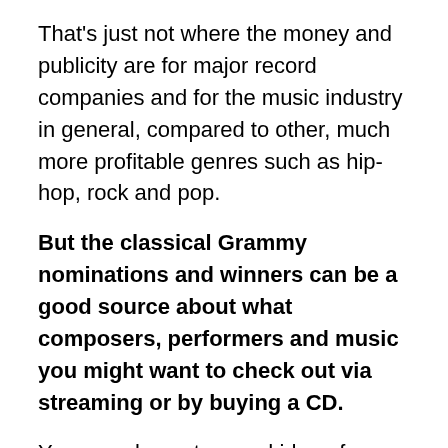That's just not where the money and publicity are for major record companies and for the music industry in general, compared to other, much more profitable genres such as hip-hop, rock and pop.
But the classical Grammy nominations and winners can be a good source about what composers, performers and music you might want to check out via streaming or by buying a CD.
You can also get a good idea of trends in classical music.
Contemporary or new music is big again this year, dominating the old standard classics.
Just like local, regional, national and international performers, both individuals and groups, the Grammys show an emphasis on female